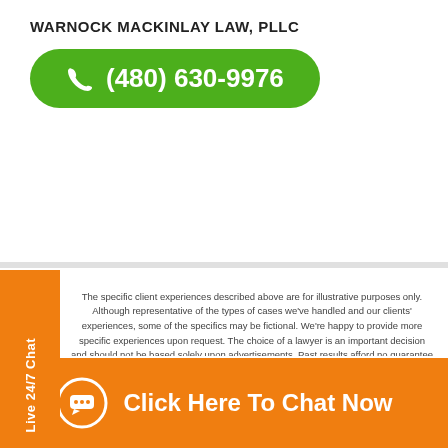WARNOCK MACKINLAY LAW, PLLC
[Figure (other): Green rounded button with phone icon and phone number (480) 630-9976]
The specific client experiences described above are for illustrative purposes only. Although representative of the types of cases we've handled and our clients' experiences, some of the specifics may be fictional. We're happy to provide more specific experiences upon request. The choice of a lawyer is an important decision and should not be based solely upon advertisements. Past results afford no guarantee of future results. Every case must be judged on its own merits. Information on this website is not legal advice. Reviewing the information on this website does not create an attorney-client relationship with the law firm. No fee or cost if no recovery. Any result the endorsed law firm may achieve on behalf of one client in one matter does not necessarily indicate similar results can be obtained for other clients. In some instances, a legal matter may be referred to other attorneys only with the client's informed consent. Lawyer Advertisement.
[Figure (other): Orange vertical side tab with text 'Live 24/7 Chat']
[Figure (other): Orange bottom banner with chat icon and text 'Click Here To Chat Now']